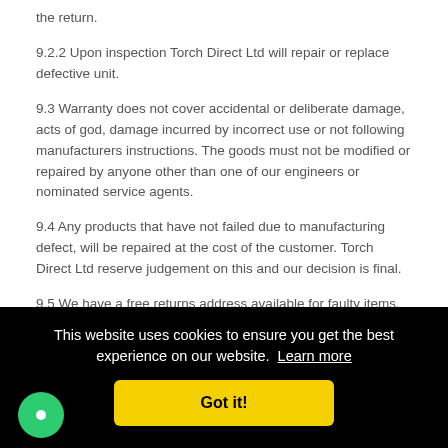the return.
9.2.2 Upon inspection Torch Direct Ltd will repair or replace defective unit.
9.3 Warranty does not cover accidental or deliberate damage, acts of god, damage incurred by incorrect use or not following manufacturers instructions. The goods must not be modified or repaired by anyone other than one of our engineers or nominated service agents.
9.4 Any products that have not failed due to manufacturing defect, will be repaired at the cost of the customer. Torch Direct Ltd reserve judgement on this and our decision is final.
9.5 We have a free returns address available for faulty items, however where we find that the item returned is working correctly we reserve the right to charge the customer all carriage costs involved (outbound and inbound) in the returns process. For this reason please ensure you have ...ise. ...cts. ...en used
...any obligation under these Terms & Conditions if the delay or failure is
[Figure (screenshot): Cookie consent banner overlay on a dark black background with text 'This website uses cookies to ensure you get the best experience on our website. Learn more' and a yellow 'Got it!' button. A green chat bubble icon appears in the bottom left corner.]